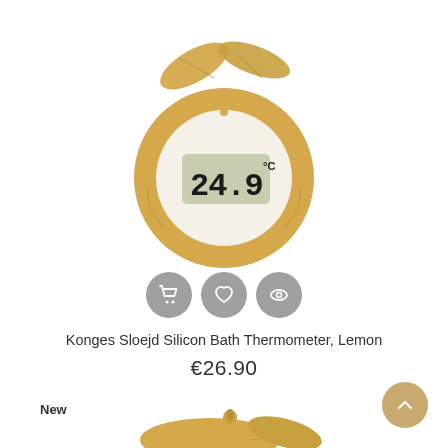[Figure (photo): A lemon-shaped silicone bath thermometer in mustard/golden yellow color with leaves on top, showing a digital display reading 24.9°C. Three action buttons (cart, wishlist, view) appear below the product image.]
Konges Sloejd Silicon Bath Thermometer, Lemon
€26.90
New
[Figure (photo): Partial view of another lemon-shaped thermometer product, showing the top portion with leaves in mustard yellow color.]